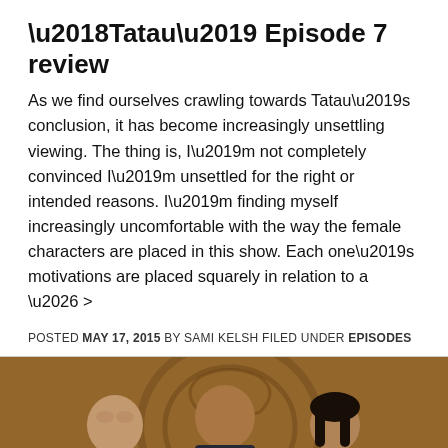'Tatau' Episode 7 review
As we find ourselves crawling towards Tatau's conclusion, it has become increasingly unsettling viewing. The thing is, I'm not completely convinced I'm unsettled for the right or intended reasons. I'm finding myself increasingly uncomfortable with the way the female characters are placed in this show. Each one's motivations are placed squarely in relation to a … >
POSTED MAY 17, 2015 BY SAMI KELSH FILED UNDER EPISODES
[Figure (photo): Promotional photo from the show Tatau showing three cast members (two men and a woman) in front of a large carved tribal design on a stone or sandy background. The image has a warm, orange-brown toned color palette.]